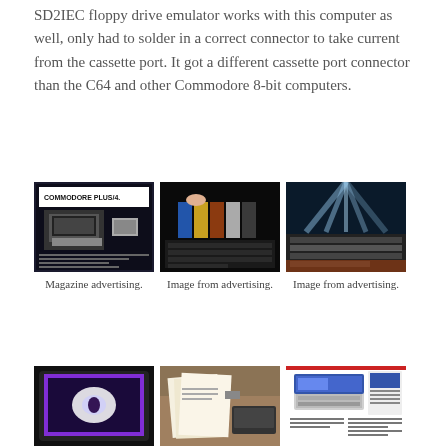SD2IEC floppy drive emulator works with this computer as well, only had to solder in a correct connector to take current from the cassette port. It got a different cassette port connector than the C64 and other Commodore 8-bit computers.
[Figure (photo): Magazine advertising photo for Commodore Plus/4 computer]
Magazine advertising.
[Figure (photo): Image from advertising showing colorful cartridges above a keyboard]
Image from advertising.
[Figure (photo): Image from advertising showing keyboard with light beams]
Image from advertising.
[Figure (photo): Photo of a monitor displaying a graphic, with purple border glow]
[Figure (photo): Photo of desk with papers and computer equipment]
[Figure (photo): Image from advertising showing a small computer with documentation]